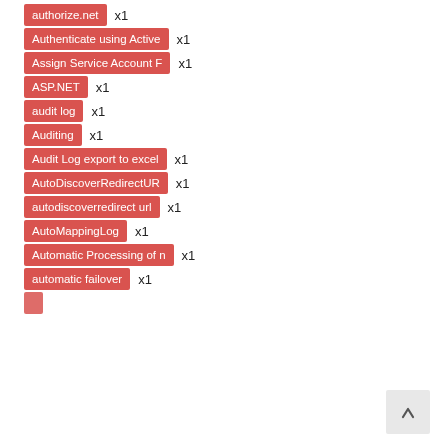authorize.net x1
Authenticate using Active x1
Assign Service Account F x1
ASP.NET x1
audit log x1
Auditing x1
Audit Log export to excel x1
AutoDiscoverRedirectUR x1
autodiscoverredirect url x1
AutoMappingLog x1
Automatic Processing of n x1
automatic failover x1